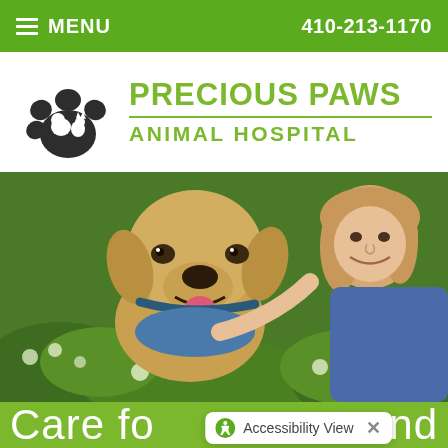MENU  410-213-1170
[Figure (logo): Precious Paws Animal Hospital logo with paw print and silhouettes of dog and cat]
[Figure (photo): A smiling yellow Labrador Retriever dog lying in white flowers with a young woman smiling behind it]
Care fo   nd
Accessibility View